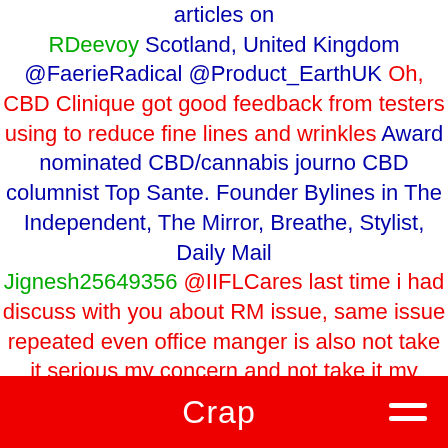articles on RDeevoy Scotland, United Kingdom @FaerieRadical @Product_EarthUK Oh, CBD Clinique got good feedback from testers using to reduce fine lines and wrinkles Award nominated CBD/cannabis journo CBD columnist Top Sante. Founder Bylines in The Independent, The Mirror, Breathe, Stylist, Daily Mail Jignesh25649356 @IIFLCares last time i had discuss with you about RM issue, same issue repeated even office manger is also not take it serious my concern and not take it my feedback or listen about my query. Due to ahmedabad careless staff I am suffering for good service since long. Only one Destination 🙏 🙏🙏Jay mataji🙏🙏 fernandoparnes Los Angeles, CA @keydaliu
Crap